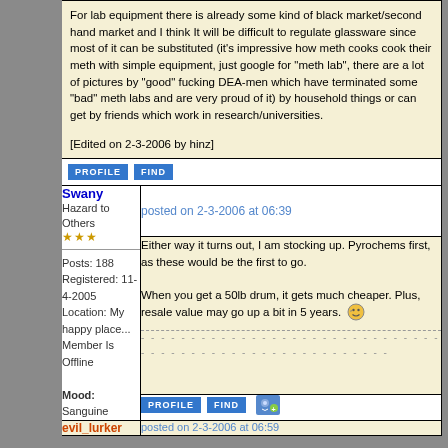For lab equipment there is already some kind of black market/second hand market and I think It will be difficult to regulate glassware since most of it can be substituted (it's impressive how meth cooks cook their meth with simple equipment, just google for "meth lab", there are a lot of pictures by "good" fucking DEA-men which have terminated some "bad" meth labs and are very proud of it) by household things or can get by friends which work in research/universities.

[Edited on 2-3-2006 by hinz]
Swany
Hazard to Others
★★★
Posts: 188
Registered: 11-4-2005
Location: My happy place...
Member Is Offline
Mood: Sanguine
posted on 2-3-2006 at 06:39
Either way it turns out, I am stocking up. Pyrochems first, as these would be the first to go.

When you get a 50lb drum, it gets much cheaper. Plus, resale value may go up a bit in 5 years.
evil_lurker
posted on 2-3-2006 at 06:59